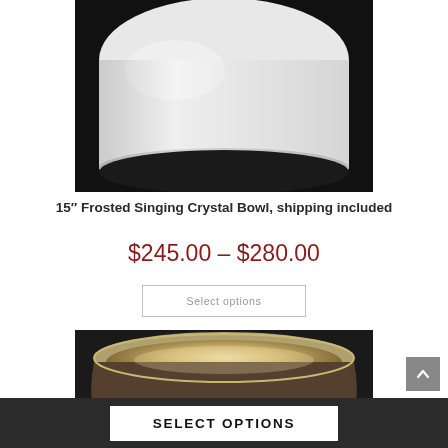[Figure (photo): Close-up photo of a white frosted crystal singing bowl from above against a black background]
15" Frosted Singing Crystal Bowl, shipping included
$245.00 – $280.00
Select options
[Figure (photo): Photo of a crystal singing bowl viewed from the side showing interior with warm lighting against a dark background]
SELECT OPTIONS